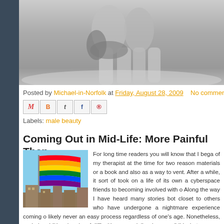[Figure (photo): Black and white photo of two people standing on a beach/rocky surface, cropped to show lower bodies]
Posted by Michael-in-Norfolk at Friday, August 28, 2009   No comments:
[Figure (infographic): Social sharing buttons: email (M), Blogger (B), Twitter (t), Facebook (f), Pinterest (P)]
Labels: male beauty
Coming Out in Mid-Life: More Painful Than
[Figure (photo): Rainbow pride flag waving against a blue sky with buildings in background]
For long time readers you will know that I bega of my therapist at the time for two reason materials or a book and also as a way to vent. After a while, it sort of took on a life of its own a cyberspace friends to becoming involved with o Along the way I have heard many stories bot closet to others who have undergone a nightmare experience coming o likely never an easy process regardless of one's age. Nonetheless, c whole additional realm of difficulties, especially when one "did what w